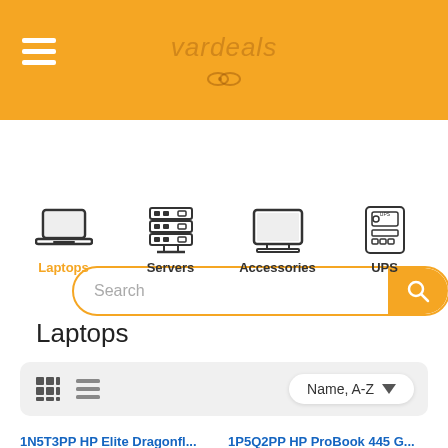vardeals (header navigation bar)
Search
[Figure (infographic): Category navigation icons: Laptops (active, orange), Servers, Accessories, UPS]
Laptops
Name, A-Z (sort dropdown with grid/list view toggle)
1N5T3PP HP Elite Dragonfl...
1P5Q2PP HP ProBook 445 G...